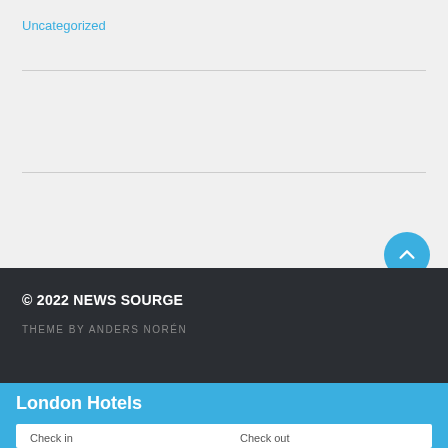Uncategorized
© 2022 NEWS SOURGE
THEME BY ANDERS NORÉN
London Hotels
Check in    Check out